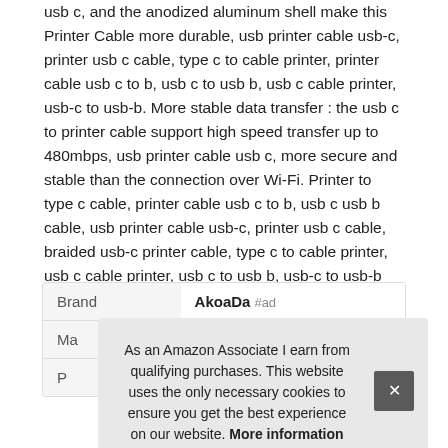usb c, and the anodized aluminum shell make this Printer Cable more durable, usb printer cable usb-c, printer usb c cable, type c to cable printer, printer cable usb c to b, usb c to usb b, usb c cable printer, usb-c to usb-b. More stable data transfer : the usb c to printer cable support high speed transfer up to 480mbps, usb printer cable usb c, more secure and stable than the connection over Wi-Fi. Printer to type c cable, printer cable usb c to b, usb c usb b cable, usb printer cable usb-c, printer usb c cable, braided usb-c printer cable, type c to cable printer, usb c cable printer, usb c to usb b, usb-c to usb-b has electronic safety.
|  |  |
| --- | --- |
| Brand | AkoaDa #ad |
| Ma |  |
| P |  |
As an Amazon Associate I earn from qualifying purchases. This website uses the only necessary cookies to ensure you get the best experience on our website. More information